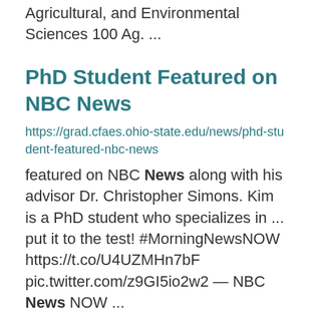Agricultural, and Environmental Sciences 100 Ag. ...
PhD Student Featured on NBC News
https://grad.cfaes.ohio-state.edu/news/phd-student-featured-nbc-news
featured on NBC News along with his advisor Dr. Christopher Simons. Kim is a PhD student who specializes in ... put it to the test! #MorningNewsNOW https://t.co/U4UZMHn7bF pic.twitter.com/z9GI5io2w2 — NBC News NOW ...